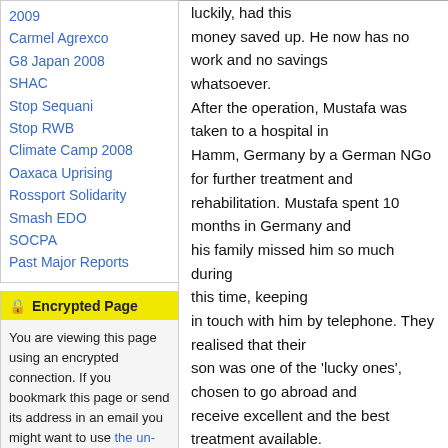2009
Carmel Agrexco
G8 Japan 2008
SHAC
Stop Sequani
Stop RWB
Climate Camp 2008
Oaxaca Uprising
Rossport Solidarity
Smash EDO
SOCPA
Past Major Reports
Encrypted Page
You are viewing this page using an encrypted connection. If you bookmark this page or send its address in an email you might want to use the un-encrypted address of this page. If you recieved a warning
luckily, had this money saved up. He now has no work and no savings whatsoever. After the operation, Mustafa was taken to a hospital in Hamm, Germany by a German NGo for further treatment and rehabilitation. Mustafa spent 10 months in Germany and his family missed him so much during this time, keeping in touch with him by telephone. They realised that their son was one of the 'lucky ones', chosen to go abroad and receive excellent and the best treatment available. Mustafa's mum became ill because of what had happened to her beloved son and because she missed him and worried about him so much - Mustafa was alone in Germany. Shu'aib had not even been allowed to travel with his